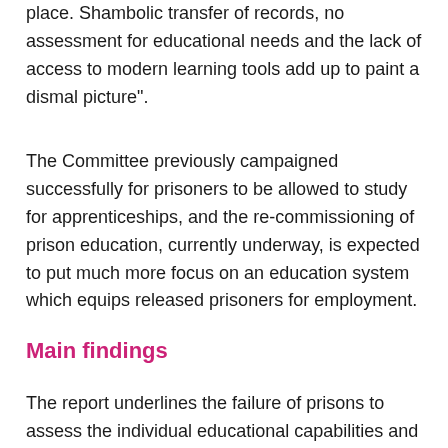place. Shambolic transfer of records, no assessment for educational needs and the lack of access to modern learning tools add up to paint a dismal picture".
The Committee previously campaigned successfully for prisoners to be allowed to study for apprenticeships, and the re-commissioning of prison education, currently underway, is expected to put much more focus on an education system which equips released prisoners for employment.
Main findings
The report underlines the failure of prisons to assess the individual educational capabilities and needs of every prisoner,